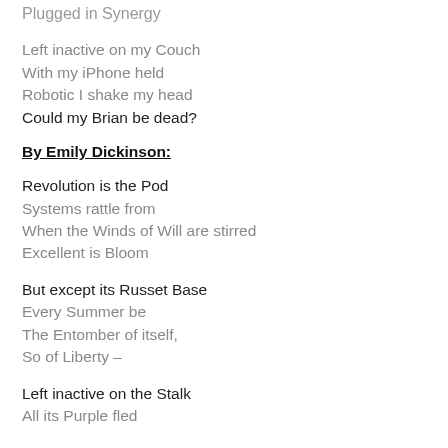Plugged in Synergy
Left inactive on my Couch
With my iPhone held
Robotic I shake my head
Could my Brian be dead?
By Emily Dickinson:
Revolution is the Pod
Systems rattle from
When the Winds of Will are stirred
Excellent is Bloom
But except its Russet Base
Every Summer be
The Entomber of itself,
So of Liberty –
Left inactive on the Stalk
All its Purple fled